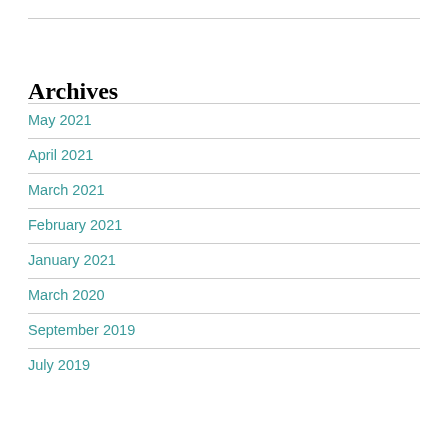Archives
May 2021
April 2021
March 2021
February 2021
January 2021
March 2020
September 2019
July 2019